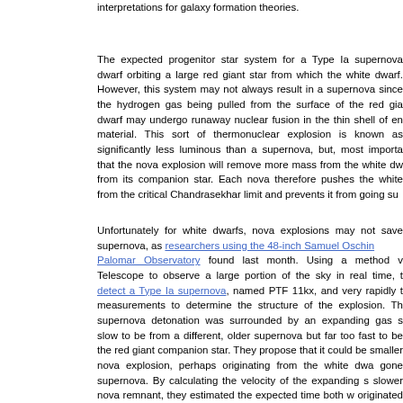interpretations for galaxy formation theories.
The expected progenitor star system for a Type Ia supernova dwarf orbiting a large red giant star from which the white dwarf. However, this system may not always result in a supernova since the hydrogen gas being pulled from the surface of the red gia dwarf may undergo runaway nuclear fusion in the thin shell of en material. This sort of thermonuclear explosion is known as significantly less luminous than a supernova, but, most importa that the nova explosion will remove more mass from the white dw from its companion star. Each nova therefore pushes the white from the critical Chandrasekhar limit and prevents it from going su
Unfortunately for white dwarfs, nova explosions may not save supernova, as researchers using the 48-inch Samuel Oschin Palomar Observatory found last month. Using a method v Telescope to observe a large portion of the sky in real time, t detect a Type Ia supernova, named PTF 11kx, and very rapidly t measurements to determine the structure of the explosion. Th supernova detonation was surrounded by an expanding gas s slow to be from a different, older supernova but far too fast to be the red giant companion star. They propose that it could be smaller nova explosion, perhaps originating from the white dwa gone supernova. By calculating the velocity of the expanding s slower nova remnant, they estimated the expected time both w originated from the same white dwarf. Their estimates were rig 11kx had at least one nova explosion in its history before going shows that, although all Type Ia supernovae may be similar, the very different beginnings.